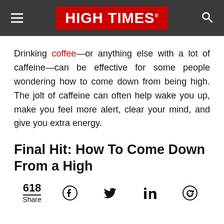HIGH TIMES
Drinking coffee—or anything else with a lot of caffeine—can be effective for some people wondering how to come down from being high. The jolt of caffeine can often help wake you up, make you feel more alert, clear your mind, and give you extra energy.
Final Hit: How To Come Down From a High
618 Share